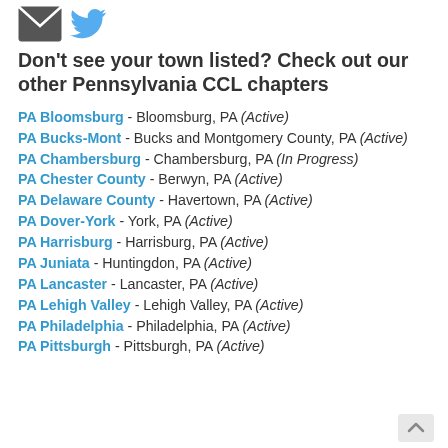[Figure (logo): Email icon and Twitter bird icon at top]
Don't see your town listed? Check out our other Pennsylvania CCL chapters
PA Bloomsburg - Bloomsburg, PA (Active)
PA Bucks-Mont - Bucks and Montgomery County, PA (Active)
PA Chambersburg - Chambersburg, PA (In Progress)
PA Chester County - Berwyn, PA (Active)
PA Delaware County - Havertown, PA (Active)
PA Dover-York - York, PA (Active)
PA Harrisburg - Harrisburg, PA (Active)
PA Juniata - Huntingdon, PA (Active)
PA Lancaster - Lancaster, PA (Active)
PA Lehigh Valley - Lehigh Valley, PA (Active)
PA Philadelphia - Philadelphia, PA (Active)
PA Pittsburgh - Pittsburgh, PA (Active)